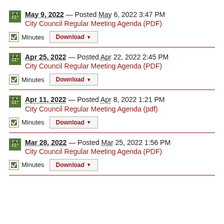May 9, 2022 — Posted May 6, 2022 3:47 PM
City Council Regular Meeting Agenda (PDF)
Minutes Download
Apr 25, 2022 — Posted Apr 22, 2022 2:45 PM
City Council Regular Meeting Agenda (PDF)
Minutes Download
Apr 11, 2022 — Posted Apr 8, 2022 1:21 PM
City Council Regular Meeting Agenda (pdf)
Minutes Download
Mar 28, 2022 — Posted Mar 25, 2022 1:56 PM
City Council Regular Meeting Agenda (PDF)
Minutes Download